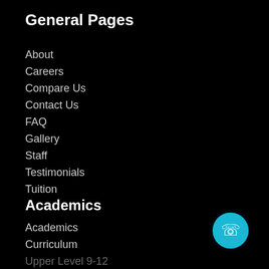General Pages
About
Careers
Compare Us
Contact Us
FAQ
Gallery
Staff
Testimonials
Tuition
Academics
Academics
Curriculum
Upper Level 9-12
Standard K-8
Class Schedule
Extracurricular
Summer Program
[Figure (illustration): Blue circular phone/call button icon in bottom-right corner]